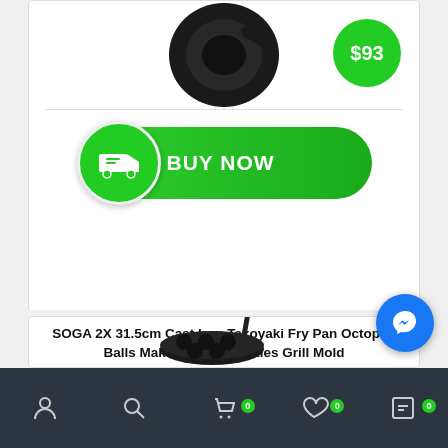[Figure (photo): Cast iron pan product image with black background, partially cropped at top]
[Figure (infographic): Green BUY NOW button with truck icon on the left circle]
SOGA 2X 31.5cm Cast Iron Takoyaki Fry Pan Octopus Balls Maker 7 Hole Cavities Grill Mold
[Figure (photo): Cast iron takoyaki pan with handle, partially cropped]
[Figure (infographic): Blue Messenger chat button and bottom navigation bar with user, search, cart (0), wishlist (0) icons]